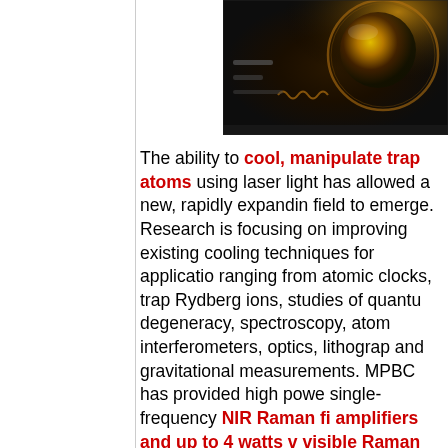[Figure (photo): Close-up photograph of scientific laboratory equipment with golden/amber glowing light, appears to be an ion trap or optical apparatus with circular lens/mirror visible]
The ability to cool, manipulate and trap atoms using laser light has allowed a new, rapidly expanding field to emerge. Research is focusing on improving existing cooling techniques for applications ranging from atomic clocks, trapped Rydberg ions, studies of quantum degeneracy, spectroscopy, atomic interferometers, optics, lithography and gravitational measurements. MPBC has provided high power single-frequency NIR Raman fiber amplifiers and up to 4 watts visible Raman fiber amplifiers